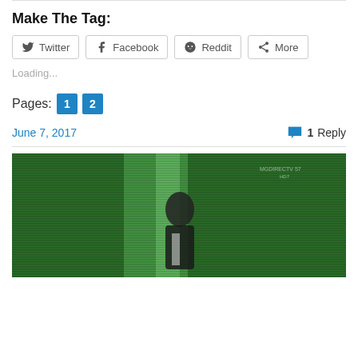Make The Tag:
[Figure (other): Social share buttons: Twitter, Facebook, Reddit, More]
Loading...
Pages: 1 2
June 7, 2017      1 Reply
[Figure (photo): A person in a dark suit standing in front of a green background with horizontal scan lines]